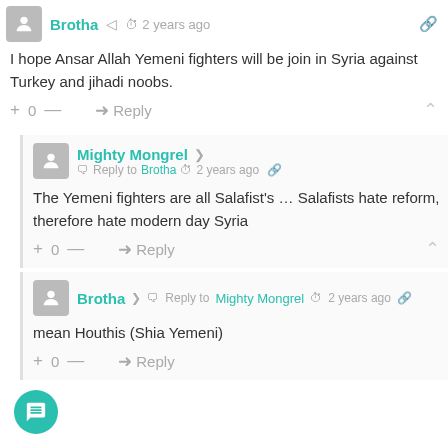Brotha · 2 years ago
I hope Ansar Allah Yemeni fighters will be join in Syria against Turkey and jihadi noobs.
+ 0 — Reply
Mighty Mongrel · Reply to Brotha · 2 years ago
The Yemeni fighters are all Salafist's … Salafists hate reform, therefore hate modern day Syria
+ 0 — Reply
Brotha · Reply to Mighty Mongrel · 2 years ago
mean Houthis (Shia Yemeni)
+ 0 — Reply